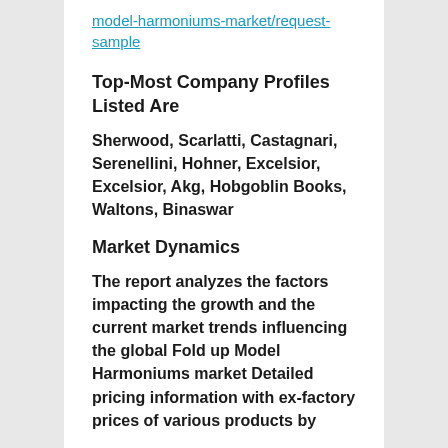model-harmoniums-market/request-sample
Top-Most Company Profiles Listed Are
Sherwood, Scarlatti, Castagnari, Serenellini, Hohner, Excelsior, Excelsior, Akg, Hobgoblin Books, Waltons, Binaswar
Market Dynamics
The report analyzes the factors impacting the growth and the current market trends influencing the global Fold up Model Harmoniums market Detailed pricing information with ex-factory prices of various products by